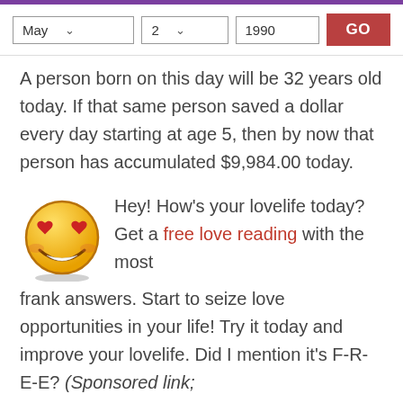May 2 1990 GO
A person born on this day will be 32 years old today. If that same person saved a dollar every day starting at age 5, then by now that person has accumulated $9,984.00 today.
[Figure (illustration): Yellow smiley face emoji with red heart-shaped eyes and a big smile]
Hey! How's your lovelife today? Get a free love reading with the most frank answers. Start to seize love opportunities in your life! Try it today and improve your lovelife. Did I mention it's F-R-E-E? (Sponsored link;